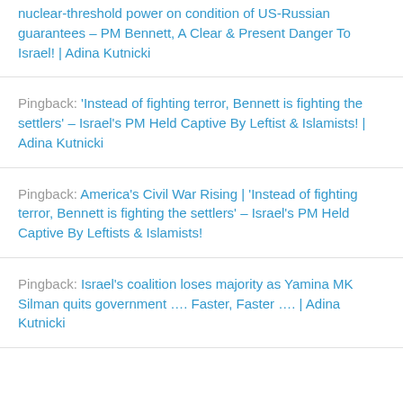nuclear-threshold power on condition of US-Russian guarantees – PM Bennett, A Clear & Present Danger To Israel! | Adina Kutnicki
Pingback: 'Instead of fighting terror, Bennett is fighting the settlers' – Israel's PM Held Captive By Leftist & Islamists! | Adina Kutnicki
Pingback: America's Civil War Rising | 'Instead of fighting terror, Bennett is fighting the settlers' – Israel's PM Held Captive By Leftists & Islamists!
Pingback: Israel's coalition loses majority as Yamina MK Silman quits government …. Faster, Faster …. | Adina Kutnicki